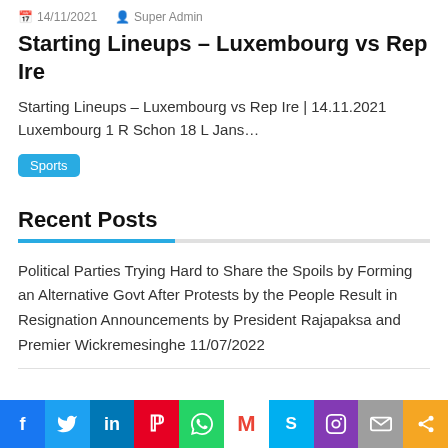14/11/2021  Super Admin
Starting Lineups – Luxembourg vs Rep Ire
Starting Lineups – Luxembourg vs Rep Ire | 14.11.2021 Luxembourg 1 R Schon 18 L Jans…
Sports
Recent Posts
Political Parties Trying Hard to Share the Spoils by Forming an Alternative Govt After Protests by the People Result in Resignation Announcements by President Rajapaksa and Premier Wickremesinghe 11/07/2022
f  Twitter  in  Pinterest  WhatsApp  Gmail  Skype  Instagram  Email  Share